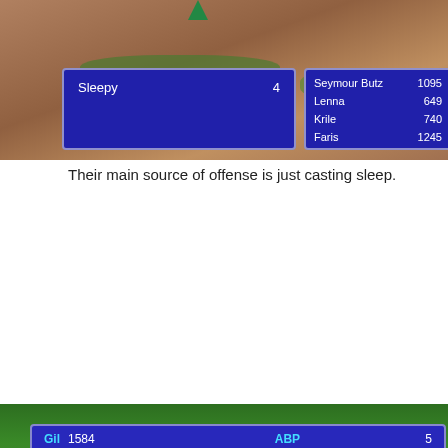[Figure (screenshot): RPG battle screen showing enemy 'Sleepy 4' on left panel and party HP on right panel. Party members: Seymour Butz 1095, Lenna 649, Krile 740, Faris 1245. Terrain: dirt/earth background.]
Their main source of offense is just casting sleep.
[Figure (screenshot): RPG victory/end-of-battle screen showing Gil 1584, EXP 2800, ABP 5, and individual character stats. Seymour Butz: EXP 635, Next 5328, ABP 12. Lenna: EXP 635, Next 3926, ABP 647. Krile: EXP 635, Next 5885, LEVEL UP. Faris: EXP 635, Next 4263, LEVEL UP. Bottom panel: Krile mastered Mug! Faris mastered Berserk!]